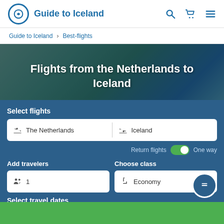Guide to Iceland
Guide to Iceland › Best-flights
Flights from the Netherlands to Iceland
Select flights
The Netherlands | Iceland
Return flights  One way
Add travelers
1
Choose class
Economy
Select travel dates
Departure | Return